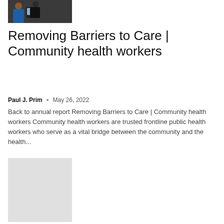[Figure (photo): Two people sitting, one using a laptop computer]
Removing Barriers to Care | Community health workers
Paul J. Prim • May 26, 2022
Back to annual report Removing Barriers to Care | Community health workers Community health workers are trusted frontline public health workers who serve as a vital bridge between the community and the health...
[Figure (photo): Gray placeholder image]